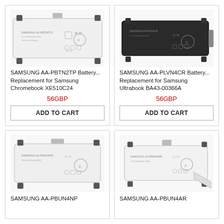[Figure (photo): Samsung AA-PBTN2TP laptop battery, white rectangular shape with certification markings]
SAMSUNG AA-PBTN2TP Battery...
Replacement for Samsung Chromebook XE510C24
56GBP
ADD TO CART
[Figure (photo): Samsung AA-PLVN4CR laptop battery, black rectangular shape with certification markings]
SAMSUNG AA-PLVN4CR Battery...
Replacement for Samsung Ultrabook BA43-00366A
56GBP
ADD TO CART
[Figure (photo): Samsung AA-PBUN4NP laptop battery, white rectangular shape with certification markings]
SAMSUNG AA-PBUN4NP
[Figure (photo): Samsung AA-PBUN4AR laptop battery, white rectangular shape with certification markings]
SAMSUNG AA-PBUN4AR